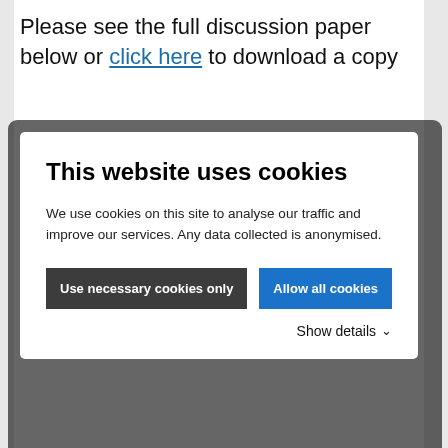Please see the full discussion paper  below or click here to download a copy
This website uses cookies
We use cookies on this site to analyse our traffic and improve our services. Any data collected is anonymised.
Use necessary cookies only
Allow all cookies
Show details